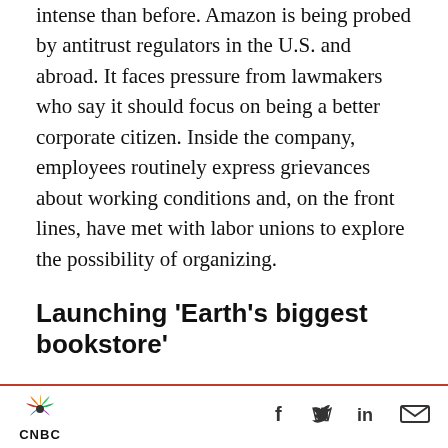intense than before. Amazon is being probed by antitrust regulators in the U.S. and abroad. It faces pressure from lawmakers who say it should focus on being a better corporate citizen. Inside the company, employees routinely express grievances about working conditions and, on the front lines, have met with labor unions to explore the possibility of organizing.
Launching 'Earth's biggest bookstore'
Bezos was a vice president at Wall Street hedge fund D.E. Shaw when he got the idea to launch an online bookstore. He quit in 1993 to launch what...
CNBC | social icons: Facebook, Twitter, LinkedIn, Email